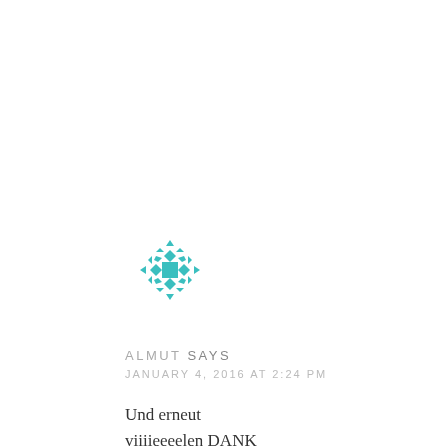[Figure (illustration): Decorative teal/turquoise snowflake or geometric mandala avatar icon for user Almut]
ALMUT SAYS
JANUARY 4, 2016 AT 2:24 PM
Und erneut viiiieeeelen DANK Diese oder die kleineren Tüten werde ich im Mai als Geschenktüten für eine Hochzeit verwenden können. Danke auch für die Hexagon Boxen für süßes. Auf meinem mini Blog werde ich danach bestimmt ergebnisse zeigen, natürlich mit hinweis auf diesen tollen